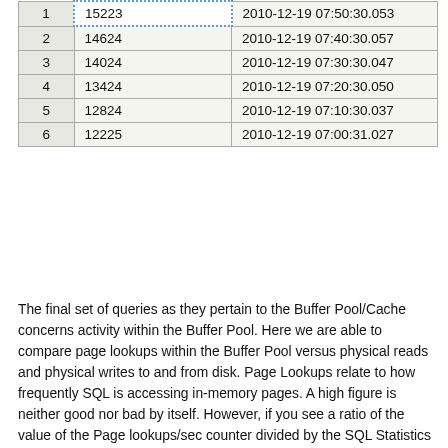| 1 | 15223 | 2010-12-19 07:50:30.053 |
| 2 | 14624 | 2010-12-19 07:40:30.057 |
| 3 | 14024 | 2010-12-19 07:30:30.047 |
| 4 | 13424 | 2010-12-19 07:20:30.050 |
| 5 | 12824 | 2010-12-19 07:10:30.037 |
| 6 | 12225 | 2010-12-19 07:00:31.027 |
The final set of queries as they pertain to the Buffer Pool/Cache concerns activity within the Buffer Pool. Here we are able to compare page lookups within the Buffer Pool versus physical reads and physical writes to and from disk. Page Lookups relate to how frequently SQL is accessing in-memory pages. A high figure is neither good nor bad by itself. However, if you see a ratio of the value of the Page lookups/sec counter divided by the SQL Statistics / Batch Requests/sec counter value greater than 100 it may be an indication of inefficient query plans. Remember that disk activity is costly and we want to see as much activity coming from memory as possible. Before